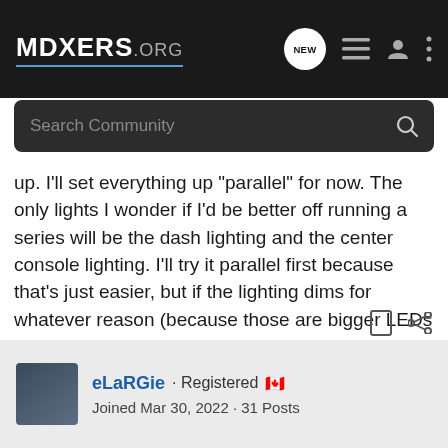MDXERS.ORG
up. I'll set everything up "parallel" for now. The only lights I wonder if I'd be better off running a series will be the dash lighting and the center console lighting. I'll try it parallel first because that's just easier, but if the lighting dims for whatever reason (because those are bigger LEDs and may draw more power than what the amp provides for parallel connection), I'll have to go back and set it up for a series connection to allow for better power flow. My gut tells me parallel connections will be just fine - LEDs don't draw that much power...
eLaRGie · Registered 🇨🇦
Joined Mar 30, 2022 · 31 Posts